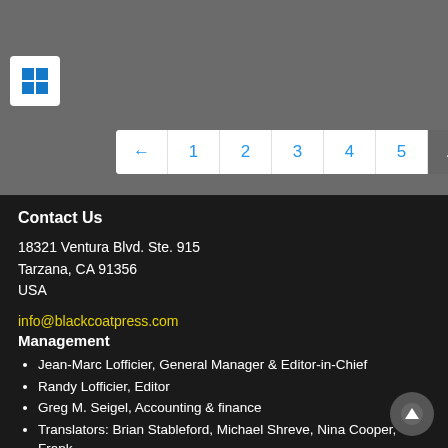[Figure (screenshot): Gray background top section with Windows logo icon and pagination bar showing pages 1-5, ..., 28 with navigation arrows]
Contact Us
18321 Ventura Blvd. Ste. 915
Tarzana, CA 91356
USA
info@blackcoatpress.com
Management
Jean-Marc Lofficier, General Manager & Editor-in-Chief
Randy Lofficier, Editor
Greg M. Seigel, Accounting & finance
Translators: Brian Stableford, Michael Shreve, Nina Cooper, Frank